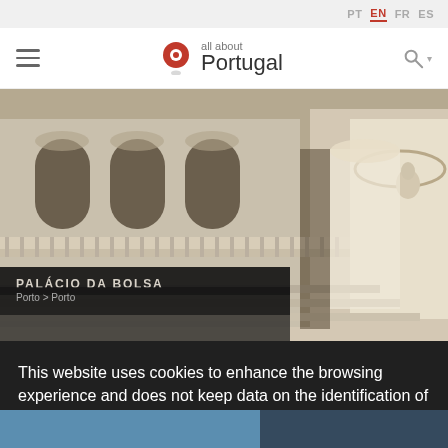PT EN FR ES
[Figure (logo): All about Portugal logo with red map pin icon and text 'all about Portugal']
[Figure (photo): Interior of Palácio da Bolsa showing ornate stone arches, balustrades, columns and classical architectural details]
PALÁCIO DA BOLSA
Porto > Porto
This website uses cookies to enhance the browsing experience and does not keep data on the identification of users. Learn more
Got it!